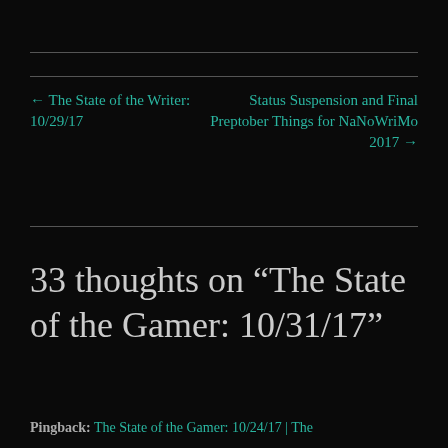← The State of the Writer: 10/29/17
Status Suspension and Final Preptober Things for NaNoWriMo 2017 →
33 thoughts on “The State of the Gamer: 10/31/17”
Pingback: The State of the Gamer: 10/24/17 | The